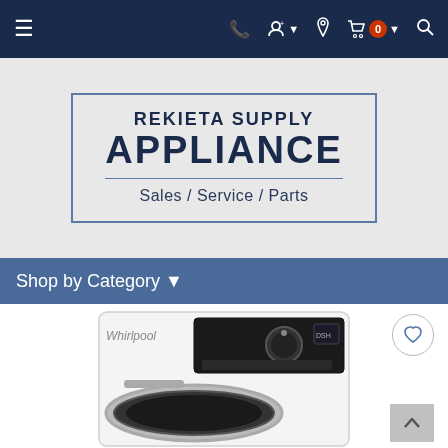Navigation bar with hamburger menu, phone, user, location, cart (0), and search icons
[Figure (logo): Rekieta Supply Appliance logo with text: REKIETA SUPPLY APPLIANCE / Sales / Service / Parts, inside a blue-bordered rectangular box]
Shop by Category ▾
[Figure (photo): Whirlpool front-load washing machine / dryer shown from the top half, white exterior with control panel and circular door]